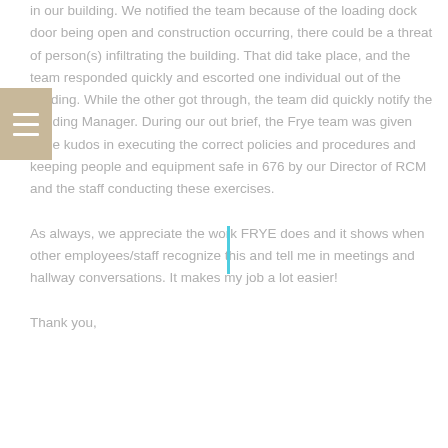in our building. We notified the team because of the loading dock door being open and construction occurring, there could be a threat of person(s) infiltrating the building. That did take place, and the team responded quickly and escorted one individual out of the building. While the other got through, the team did quickly notify the Building Manager. During our out brief, the Frye team was given huge kudos in executing the correct policies and procedures and keeping people and equipment safe in 676 by our Director of RCM and the staff conducting these exercises.

As always, we appreciate the work FRYE does and it shows when other employees/staff recognize this and tell me in meetings and hallway conversations. It makes my job a lot easier!

Thank you,